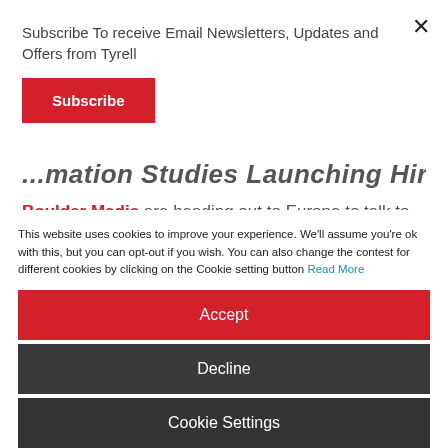Subscribe To receive Email Newsletters, Updates and Offers from Tyrell
Subscribe
...mation Studies Launching Hiring...
Boulder Media are heading out to Europe to talk to you and recruit you to work on a major project. In our small way we'd like to put the word out there to help in any way we can. Keep an eye out here as details are posted about
This website uses cookies to improve your experience. We'll assume you're ok with this, but you can opt-out if you wish. You can also change the contest for different cookies by clicking on the Cookie setting button Read More
Accept
Decline
Cookie Settings